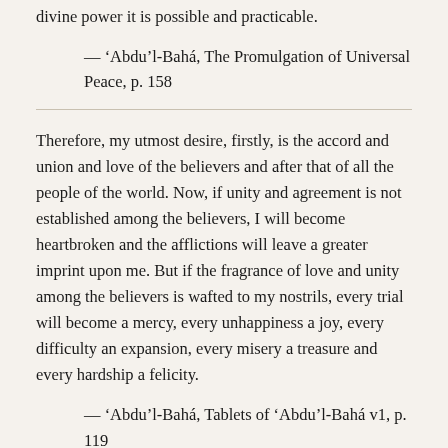divine power it is possible and practicable.
— ‘Abdu’l-Bahá, The Promulgation of Universal Peace, p. 158
Therefore, my utmost desire, firstly, is the accord and union and love of the believers and after that of all the people of the world. Now, if unity and agreement is not established among the believers, I will become heartbroken and the afflictions will leave a greater imprint upon me. But if the fragrance of love and unity among the believers is wafted to my nostrils, every trial will become a mercy, every unhappiness a joy, every difficulty an expansion, every misery a treasure and every hardship a felicity.
— ‘Abdu’l-Bahá, Tablets of ‘Abdu’l-Bahá v1, p. 119